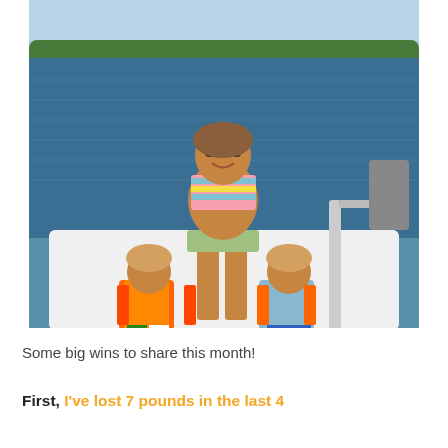[Figure (photo): A woman in a striped bikini standing on a boat with two young children wearing orange life jackets. Water and trees visible in the background.]
Some big wins to share this month!
First, I've lost 7 pounds in the last 4